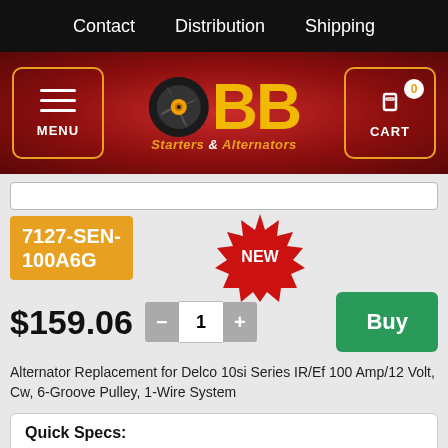Contact  Distribution  Shipping
[Figure (logo): BB Starters & Alternators logo with spinning rotor icon on red background, with MENU button and CART button (0 items)]
7127-SEN-100A6G
[Figure (illustration): Red starburst NEW badge]
$159.06
Buy
Alternator Replacement for Delco 10si Series IR/Ef 100 Amp/12 Volt, Cw, 6-Groove Pulley, 1-Wire System
| Type: | 10SI |